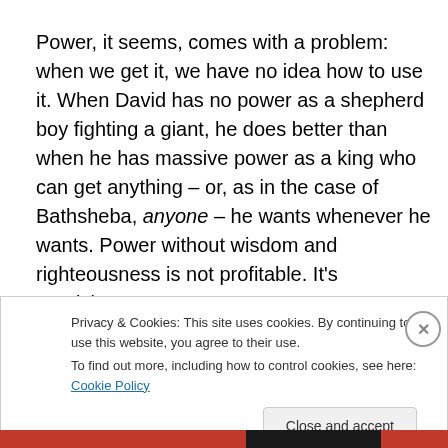Power, it seems, comes with a problem: when we get it, we have no idea how to use it. When David has no power as a shepherd boy fighting a giant, he does better than when he has massive power as a king who can get anything – or, as in the case of Bathsheba, anyone – he wants whenever he wants. Power without wisdom and righteousness is not profitable. It's pernicious.
Privacy & Cookies: This site uses cookies. By continuing to use this website, you agree to their use.
To find out more, including how to control cookies, see here: Cookie Policy
Close and accept